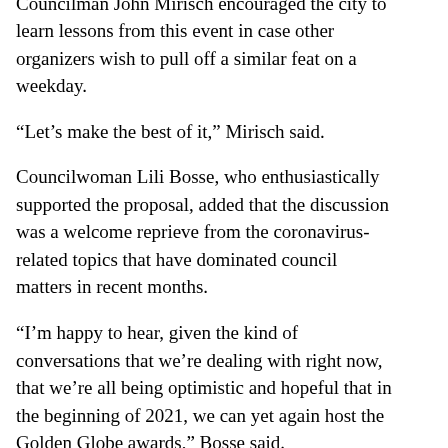place only for one weekday rush hour, Councilman John Mirisch encouraged the city to learn lessons from this event in case other organizers wish to pull off a similar feat on a weekday.
“Let’s make the best of it,” Mirisch said.
Councilwoman Lili Bosse, who enthusiastically supported the proposal, added that the discussion was a welcome reprieve from the coronavirus-related topics that have dominated council matters in recent months.
“I’m happy to hear, given the kind of conversations that we’re dealing with right now, that we’re all being optimistic and hopeful that in the beginning of 2021, we can yet again host the Golden Globe awards,” Bosse said.
Friedman added that he hopes the 2021 Golden Globes, which will be hosted by Tina Fey and Amy